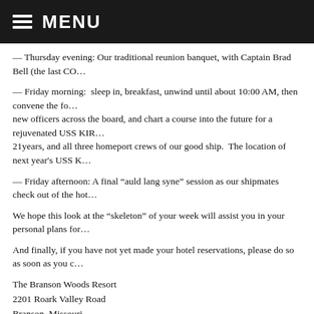MENU
— Thursday evening: Our traditional reunion banquet, with Captain Brad Bell (the last CO…
— Friday morning:  sleep in, breakfast, unwind until about 10:00 AM, then convene the fo… new officers across the board, and chart a course into the future for a rejuvenated USS KIR… 21years, and all three homeport crews of our good ship.  The location of next year's USS K…
— Friday afternoon: A final “auld lang syne” session as our shipmates check out of the hot…
We hope this look at the “skeleton” of your week will assist you in your personal plans for…
And finally, if you have not yet made your hotel reservations, please do so as soon as you c…
The Branson Woods Resort
2201 Roark Valley Road
Branson, Missouri
(417) 334-2324.
You can reserve your room by calling 877-502-7058, and use the “Group Code” 60-383.
We should have the cost details for the reunion finalized by the next Reunion Update, and v… and mailed back along with your check.  So keep an eye out for the next update!